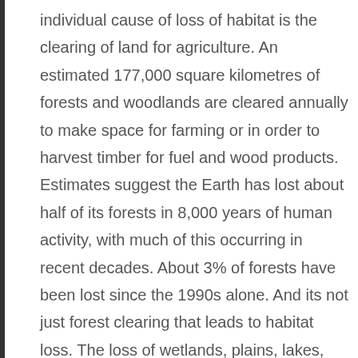individual cause of loss of habitat is the clearing of land for agriculture. An estimated 177,000 square kilometres of forests and woodlands are cleared annually to make space for farming or in order to harvest timber for fuel and wood products. Estimates suggest the Earth has lost about half of its forests in 8,000 years of human activity, with much of this occurring in recent decades. About 3% of forests have been lost since the 1990s alone. And its not just forest clearing that leads to habitat loss. The loss of wetlands, plains, lakes, and other natural environments all destroy or degrade habitat, as do other human activities such as introducing invasive species, polluting, trading in wildlife, and engaging in wars. This destruction of habitat also involves marine zones and the ocean, with urbanisation, industrialisation and tourism all affecting habitats in coastal areas. Some 40% of the global population live within 100 kilometres of the coast, placing major strains on wetlands and oceans.